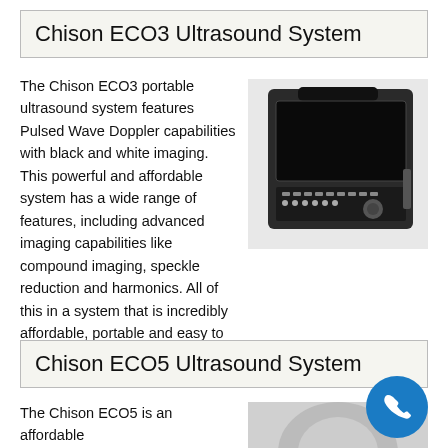Chison ECO3 Ultrasound System
The Chison ECO3 portable ultrasound system features Pulsed Wave Doppler capabilities with black and white imaging. This powerful and affordable system has a wide range of features, including advanced imaging capabilities like compound imaging, speckle reduction and harmonics. All of this in a system that is incredibly affordable, portable and easy to operate. The ECO3 [...]
[Figure (photo): Photo of the Chison ECO3 portable ultrasound device, showing a laptop-style form factor with a dark screen and control panel with buttons.]
Chison ECO5 Ultrasound System
The Chison ECO5 is an affordable
[Figure (photo): Partial photo of the Chison ECO5 ultrasound system.]